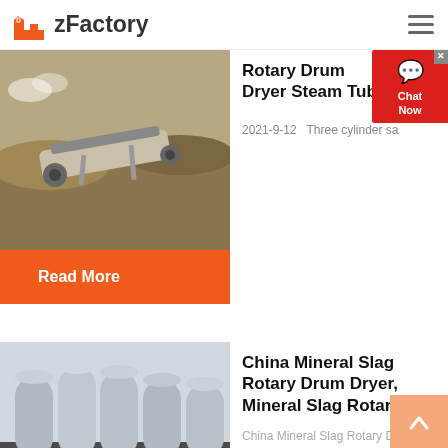zFactory
Rotary Drum Dryer Steam Tube
2021-9-12   Three cylinder sa
Read More
[Figure (photo): Mining/crushing machine equipment in an excavation site with dirt mounds and machinery]
[Figure (photo): Industrial facility with large cylindrical metal silos/tanks and a dark building exterior]
China Mineral Slag Rotary Drum Dryer, Mineral Slag Rotary ...
China Mineral Slag Rotary Drum ...